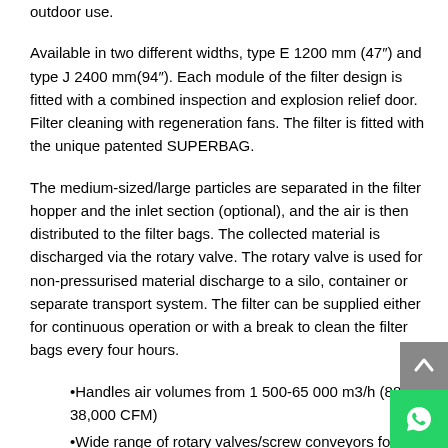outdoor use.
Available in two different widths, type E 1200 mm (47") and type J 2400 mm(94"). Each module of the filter design is fitted with a combined inspection and explosion relief door. Filter cleaning with regeneration fans. The filter is fitted with the unique patented SUPERBAG.
The medium-sized/large particles are separated in the filter hopper and the inlet section (optional), and the air is then distributed to the filter bags. The collected material is discharged via the rotary valve. The rotary valve is used for non-pressurised material discharge to a silo, container or separate transport system. The filter can be supplied either for continuous operation or with a break to clean the filter bags every four hours.
Handles air volumes from 1 500-65 000 m3/h (883-38,000 CFM)
Wide range of rotary valves/screw conveyors for material discharge